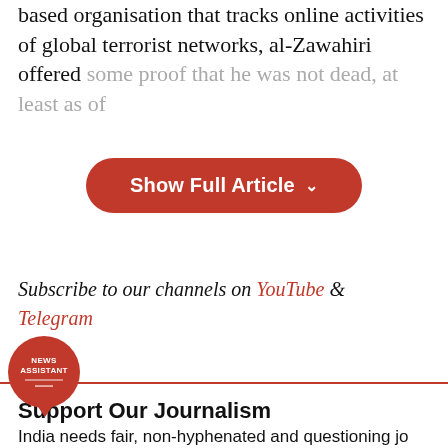based organisation that tracks online activities of global terrorist networks, al-Zawahiri offered some proof that he was not dead, at least as of [faded text]
[Figure (other): Red pill-shaped button labeled 'Show Full Article' with a downward chevron]
Subscribe to our channels on YouTube & Telegram
Support Our Journalism
India needs fair, non-hyphenated and questioning journalism, packed with on-ground reporting. ThePrint has exceptional reporters, columnists and editors – doing just that.
Sustaining this needs support from wonderful readers like you.
Whether you live in India or overseas, you can take...
[Figure (logo): News Assistant red circular badge/icon]